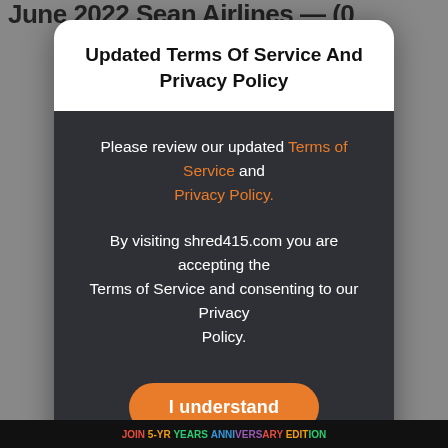June 2022 Sean Airlines — (0
Updated Terms Of Service And Privacy Policy
Please review our updated Terms of Service and Privacy Policy.
By visiting shred415.com you are accepting the Terms of Service and consenting to our Privacy Policy.
I understand
JOIN 5-YR YEARS EDITION